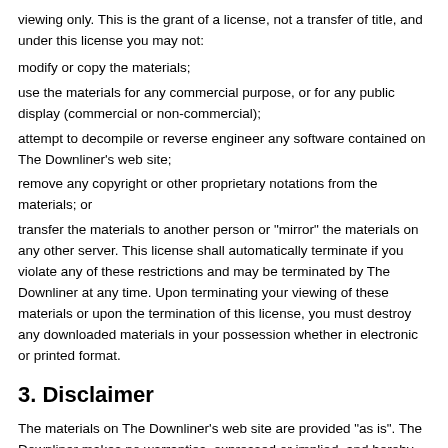viewing only. This is the grant of a license, not a transfer of title, and under this license you may not:
modify or copy the materials;
use the materials for any commercial purpose, or for any public display (commercial or non-commercial);
attempt to decompile or reverse engineer any software contained on The Downliner's web site;
remove any copyright or other proprietary notations from the materials; or
transfer the materials to another person or "mirror" the materials on any other server. This license shall automatically terminate if you violate any of these restrictions and may be terminated by The Downliner at any time. Upon terminating your viewing of these materials or upon the termination of this license, you must destroy any downloaded materials in your possession whether in electronic or printed format.
3. Disclaimer
The materials on The Downliner's web site are provided "as is". The Downliner makes no warranties, expressed or implied, and hereby disclaims and negates all other warranties, including without limitation, implied warranties or conditions of